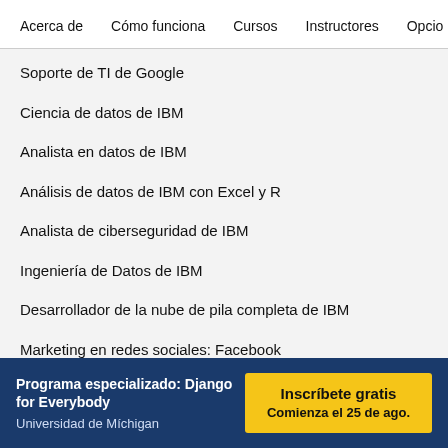Acerca de   Cómo funciona   Cursos   Instructores   Opcio
Soporte de TI de Google
Ciencia de datos de IBM
Analista en datos de IBM
Análisis de datos de IBM con Excel y R
Analista de ciberseguridad de IBM
Ingeniería de Datos de IBM
Desarrollador de la nube de pila completa de IBM
Marketing en redes sociales: Facebook
Analítica del marketing de Facebook
Representante de desarrollo de ventas de Salesforce
Operaciones de venta de Salesforce
Programa especializado: Django for Everybody
Universidad de Míchigan
Inscríbete gratis
Comienza el 25 de ago.